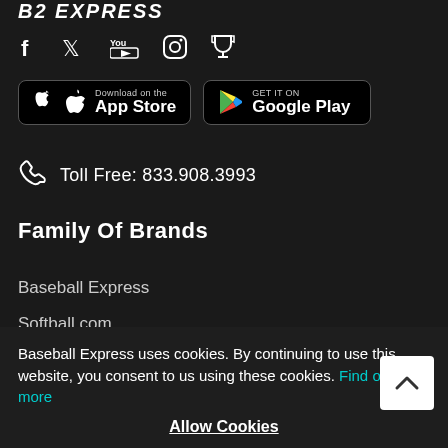[Figure (logo): B2 Express logo text in white italic]
[Figure (infographic): Social media icons: Facebook, Twitter, YouTube, Instagram, Trophy/Rewards]
[Figure (infographic): App Store and Google Play download buttons on dark background with borders]
Toll Free: 833.908.3993
Family Of Brands
Baseball Express
Softball.com
Football America
SoftballFans
Baseball Express uses cookies. By continuing to use this website, you consent to us using these cookies. Find out more
Allow Cookies